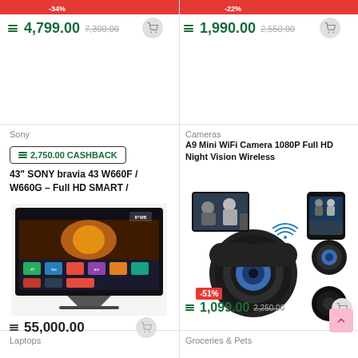-34%
-22%
4,799.00  7,300.00
1,990.00  2,550.00
Sony
Cameras
2,750.00 CASHBACK
A9 Mini WiFi Camera 1080P Full HD Night Vision Wireless
43" SONY bravia 43 W660F / W660G – Full HD SMART /
[Figure (photo): Sony Bravia 43 inch Smart TV showing home screen interface]
[Figure (photo): A9 Mini WiFi Camera product collage showing small circular camera and phone display]
-51%
1,099.00  2,250.00
55,000.00
Laptops
Groceries & Pets